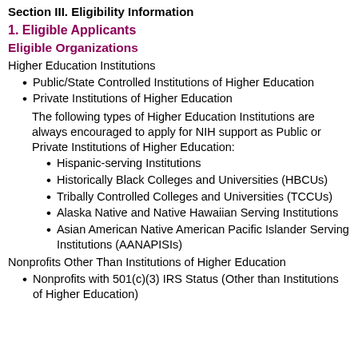Section III. Eligibility Information
1. Eligible Applicants
Eligible Organizations
Higher Education Institutions
Public/State Controlled Institutions of Higher Education
Private Institutions of Higher Education
The following types of Higher Education Institutions are always encouraged to apply for NIH support as Public or Private Institutions of Higher Education:
Hispanic-serving Institutions
Historically Black Colleges and Universities (HBCUs)
Tribally Controlled Colleges and Universities (TCCUs)
Alaska Native and Native Hawaiian Serving Institutions
Asian American Native American Pacific Islander Serving Institutions (AANAPISIs)
Nonprofits Other Than Institutions of Higher Education
Nonprofits with 501(c)(3) IRS Status (Other than Institutions of Higher Education)